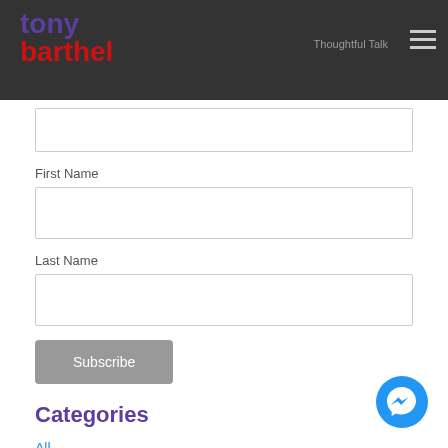tony barthel
First Name
Last Name
Subscribe
Categories
All
Business Management
Chamber Of Commerce
Customer Service
Email Marketing
Facebook